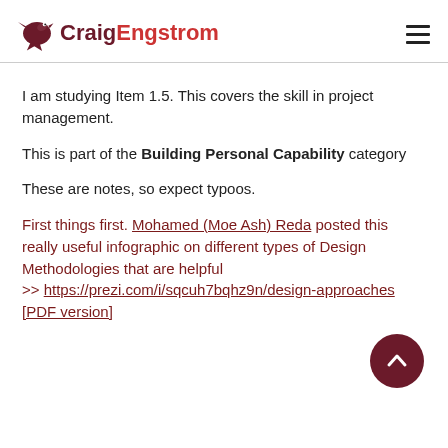CraigEngstrom
I am studying Item 1.5. This covers the skill in project management.
This is part of the Building Personal Capability category
These are notes, so expect typoos.
First things first. Mohamed (Moe Ash) Reda posted this really useful infographic on different types of Design Methodologies that are helpful >> https://prezi.com/i/sqcuh7bqhz9n/design-approaches [PDF version]